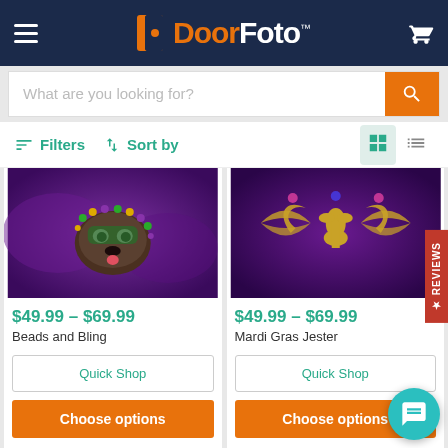[Figure (logo): DoorFoto logo with orange D and door icon on dark navy header]
What are you looking for?
Filters   Sort by
[Figure (photo): Dog wearing Mardi Gras beads and mask on purple background - Beads and Bling]
[Figure (photo): Gold fleur-de-lis and ornamental design on purple background - Mardi Gras Jester]
$49.99 - $69.99
Beads and Bling
$49.99 - $69.99
Mardi Gras Jester
Quick Shop
Quick Shop
Choose options
Choose options